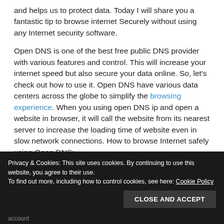and helps us to protect data. Today I will share you a fantastic tip to browse internet Securely without using any Internet security software.
Open DNS is one of the best free public DNS provider with various features and control. This will increase your internet speed but also secure your data online. So, let's check out how to use it. Open DNS have various data centers across the globe to simplify the browsing experience. When you using open DNS ip and open a website in browser, it will call the website from its nearest server to increase the loading time of website even in slow network connections. How to browse Internet safely using Open DNS:
Privacy & Cookies: This site uses cookies. By continuing to use this website, you agree to their use.
To find out more, including how to control cookies, see here: Cookie Policy
CLOSE AND ACCEPT
account